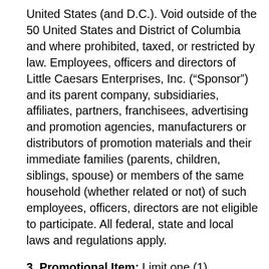United States (and D.C.). Void outside of the 50 United States and District of Columbia and where prohibited, taxed, or restricted by law. Employees, officers and directors of Little Caesars Enterprises, Inc. (“Sponsor”) and its parent company, subsidiaries, affiliates, partners, franchisees, advertising and promotion agencies, manufacturers or distributors of promotion materials and their immediate families (parents, children, siblings, spouse) or members of the same household (whether related or not) of such employees, officers, directors are not eligible to participate. All federal, state and local laws and regulations apply.
3. Promotional Item: Limit one (1) Promotional Item per veteran or active member of the United States military. There is no coupon required to redeem the offer. Veterans and military personnel must present proof of service (such as ID card with veteran designation, DD-214 form, or current military issued ID card). No